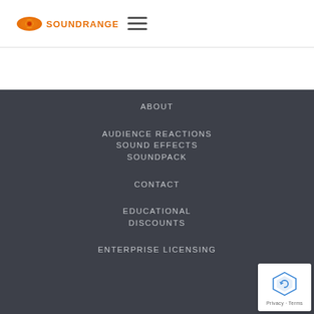SOUNDRANGERS
ABOUT
AUDIENCE REACTIONS
SOUND EFFECTS
SOUNDPACK
CONTACT
EDUCATIONAL DISCOUNTS
ENTERPRISE LICENSING